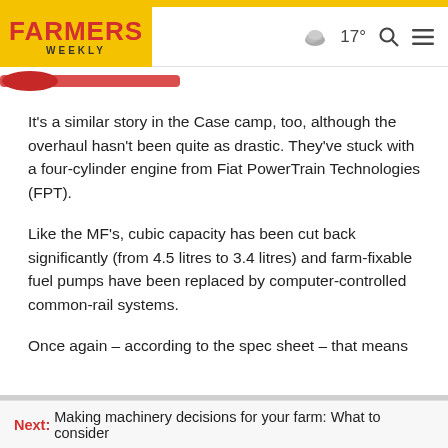FARMERS WEEKLY | 17° [weather] [search] [menu]
It's a similar story in the Case camp, too, although the overhaul hasn't been quite as drastic. They've stuck with a four-cylinder engine from Fiat PowerTrain Technologies (FPT).
Like the MF's, cubic capacity has been cut back significantly (from 4.5 litres to 3.4 litres) and farm-fixable fuel pumps have been replaced by computer-controlled common-rail systems.
Once again – according to the spec sheet – that means
Next: Making machinery decisions for your farm: What to consider